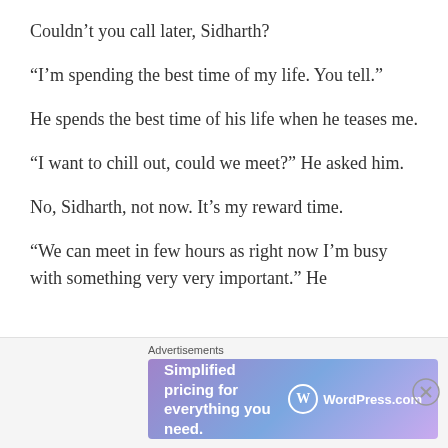Couldn’t you call later, Sidharth?
“I’m spending the best time of my life. You tell.”
He spends the best time of his life when he teases me.
“I want to chill out, could we meet?” He asked him.
No, Sidharth, not now. It’s my reward time.
“We can meet in few hours as right now I’m busy with something very very important.” He
Advertisements
[Figure (other): WordPress.com advertisement banner: 'Simplified pricing for everything you need.' with WordPress.com logo]